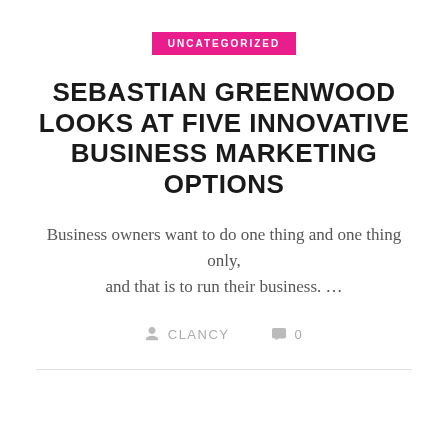UNCATEGORIZED
SEBASTIAN GREENWOOD LOOKS AT FIVE INNOVATIVE BUSINESS MARKETING OPTIONS
Business owners want to do one thing and one thing only, and that is to run their business. …
CLANCY   0